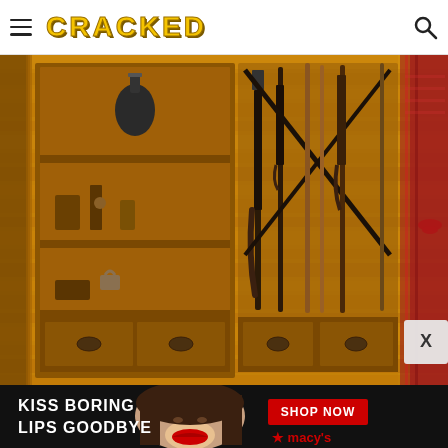CRACKED
[Figure (photo): A wooden gun cabinet with shelves containing antique firearms, a canteen, and various hunting equipment against a wood-paneled wall background. Red checked fabric visible on right side.]
[Figure (photo): Macy's advertisement banner: 'KISS BORING LIPS GOODBYE' with a woman's face wearing red lipstick and a SHOP NOW button with Macy's star logo.]